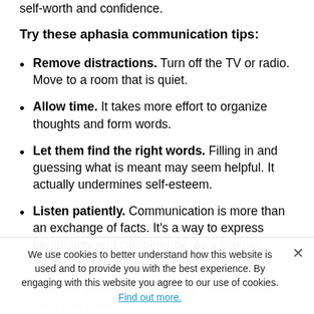Help. Your support is invaluable in terms of bolstering self-worth and confidence.
Try these aphasia communication tips:
Remove distractions. Turn off the TV or radio. Move to a room that is quiet.
Allow time. It takes more effort to organize thoughts and form words.
Let them find the right words. Filling in and guessing what is meant may seem helpful. It actually undermines self-esteem.
Listen patiently. Communication is more than an exchange of facts. It's a way to express personality and competence. As a listener, relate as if you have all the time in the world.
Confirm your understanding. Repeat back what you heard.
Keep it simple. Speak in short sentences. Avoid complex questions.
We use cookies to better understand how this website is used and to provide you with the best experience. By engaging with this website you agree to our use of cookies. Find out more.